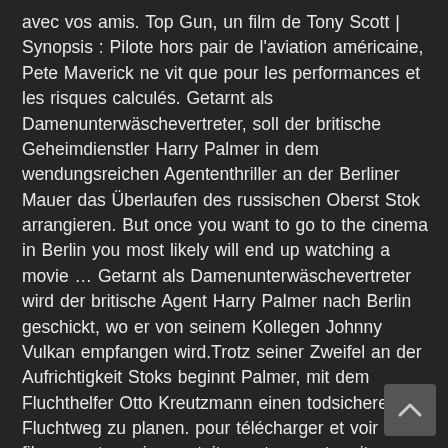avec vos amis. Top Gun, un film de Tony Scott | Synopsis : Pilote hors pair de l'aviation américaine, Pete Maverick ne vit que pour les performances et les risques calculés. Getarnt als Damenunterwäschevertreter, soll der britische Geheimdienstler Harry Palmer in dem wendungsreichen Agententhriller an der Berliner Mauer das Überlaufen des russischen Oberst Stok arrangieren. But once you want to go to the cinema in Berlin you most likely will end up watching a movie ... Getarnt als Damenunterwäschevertreter wird der britische Agent Harry Palmer nach Berlin geschickt, wo er von seinem Kollegen Johnny Vulkan empfangen wird.Trotz seiner Zweifel an der Aufrichtigkeit Stoks beginnt Palmer, mit dem Fluchthelfer Otto Kreutzmann einen todsicheren Fluchtweg zu planen. pour télécharger et voir les films en streaming gratuitement sur notre site enregistrer vous gratuitement . TF1 en direct : Retrouvez gratuitement et en direct tous les programmes, émissions et séries de TF1 sur MYTF1. Following in the footsteps of ist-grade
[Figure (other): Scroll-to-top button (chevron/arrow up icon) in bottom-right corner, dark grey rounded rectangle]